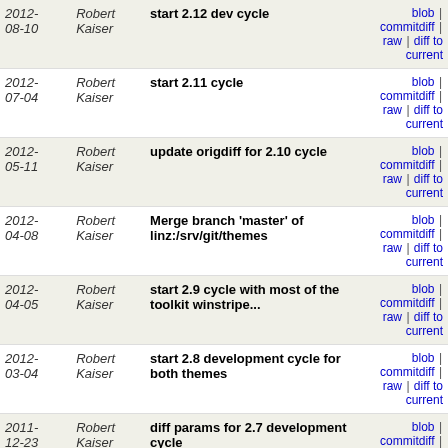| Date | Author | Message | Links |
| --- | --- | --- | --- |
| 2012-08-10 | Robert Kaiser | start 2.12 dev cycle | blob | commitdiff | raw | diff to current |
| 2012-07-04 | Robert Kaiser | start 2.11 cycle | blob | commitdiff | raw | diff to current |
| 2012-05-11 | Robert Kaiser | update origdiff for 2.10 cycle | blob | commitdiff | raw | diff to current |
| 2012-04-08 | Robert Kaiser | Merge branch 'master' of linz:/srv/git/themes | blob | commitdiff | raw | diff to current |
| 2012-04-05 | Robert Kaiser | start 2.9 cycle with most of the toolkit winstripe... | blob | commitdiff | raw | diff to current |
| 2012-03-04 | Robert Kaiser | start 2.8 development cycle for both themes | blob | commitdiff | raw | diff to current |
| 2011-12-23 | Robert Kaiser | diff params for 2.7 development cycle | blob | commitdiff | raw | diff to current |
| 2011-11-20 | Robert Kaiser | start 2.6 cycle for both themes | blob | commitdiff | raw | diff to current |
| 2011-10-23 | Robert Kaiser | correct tags | blob | commitdiff | raw | diff to current |
| 2011-10-23 | Robert Kaiser | start 2.5 development cycles | blob | commitdiff | raw | diff to current |
| 2011-09-04 | Robert Kaiser | first steps of adopting both themes to toolkit winstrip... | blob | commitdiff | raw | diff to current |
| 2011-08-22 | Robert Kaiser | update both themes to the state of SeaMonkey 2.3 and... | blob | commitdiff | raw | diff to current |
| 2011-08-21 | Robert Kaiser | update diff script for rapid release and update both... | blob | commitdiff | raw | diff to current |
| 2011-... | Robert... | ... | blob | ... |